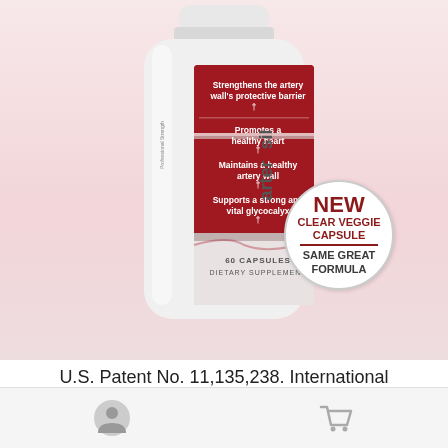[Figure (photo): Arterosil HP supplement bottle (60 capsules dietary supplement) with white cap and label showing brand name, benefits including 'Strengthens the artery wall's protective barrier', 'Promotes a healthy heart', 'Maintains a healthy artery wall', 'Supports a strong and vital glycocalyx'. A circular badge reads 'NEW CLEAR VEGGIE CAPSULE SAME GREAT FORMULA'.]
U.S. Patent No. 11,135,238. International Patents Pending